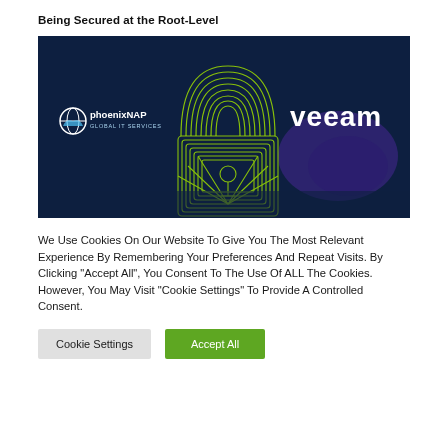Being Secured at the Root-Level
[Figure (illustration): Dark navy blue banner image showing phoenixNAP Global IT Services logo on the left and VEEAM logo on the right, with a green neon wireframe padlock in the center foreground and a stylized blue glowing hand/wave in the background.]
We Use Cookies On Our Website To Give You The Most Relevant Experience By Remembering Your Preferences And Repeat Visits. By Clicking "Accept All", You Consent To The Use Of ALL The Cookies. However, You May Visit "Cookie Settings" To Provide A Controlled Consent.
Cookie Settings   Accept All